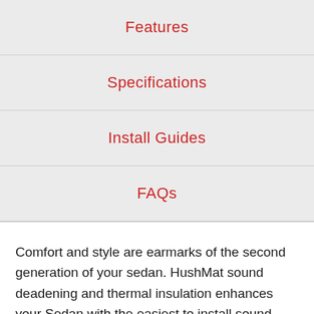Features
Specifications
Install Guides
FAQs
Comfort and style are earmarks of the second generation of your sedan. HushMat sound deadening and thermal insulation enhances your Sedan with the easiest to install sound deadening material. Your vehicle is fun to drive, but the engine gets hot. There is over 200 degrees of heat cooking your firewall and floor pan. Your engine,